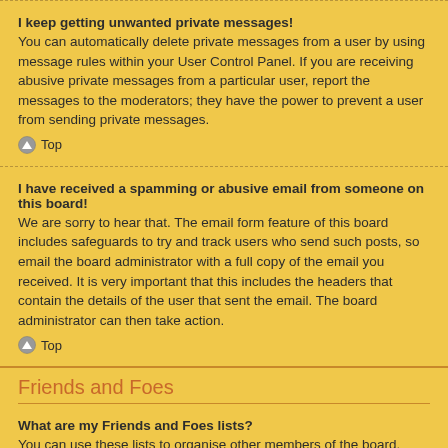I keep getting unwanted private messages!
You can automatically delete private messages from a user by using message rules within your User Control Panel. If you are receiving abusive private messages from a particular user, report the messages to the moderators; they have the power to prevent a user from sending private messages.
Top
I have received a spamming or abusive email from someone on this board!
We are sorry to hear that. The email form feature of this board includes safeguards to try and track users who send such posts, so email the board administrator with a full copy of the email you received. It is very important that this includes the headers that contain the details of the user that sent the email. The board administrator can then take action.
Top
Friends and Foes
What are my Friends and Foes lists?
You can use these lists to organise other members of the board.